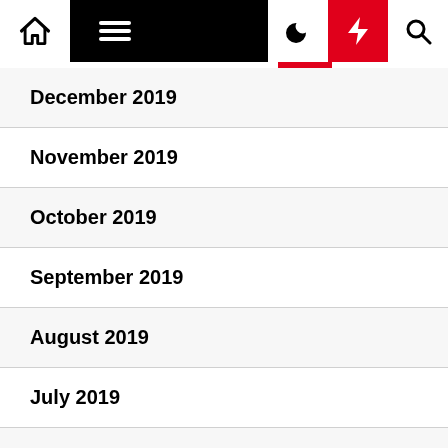Navigation bar with home, menu, dark mode, flash, and search icons
December 2019
November 2019
October 2019
September 2019
August 2019
July 2019
June 2019
May 2019
April 2019